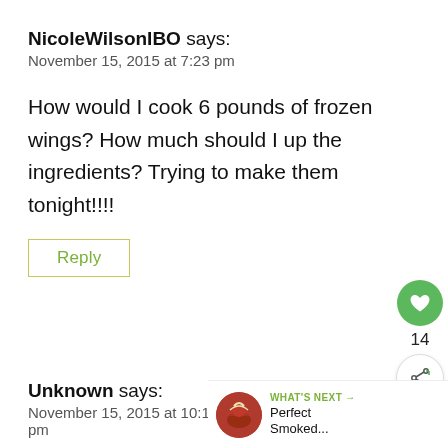NicoleWilsonIBO says:
November 15, 2015 at 7:23 pm
How would I cook 6 pounds of frozen wings? How much should I up the ingredients? Trying to make them tonight!!!!
Reply
Unknown says:
November 15, 2015 at 10:19 pm